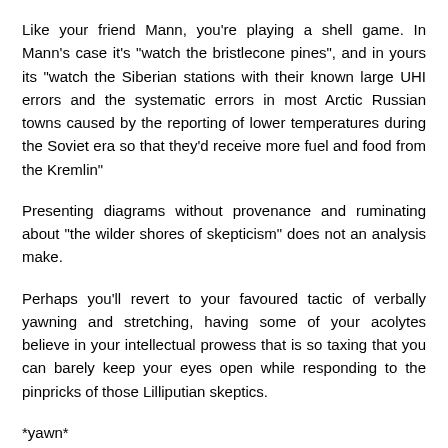Like your friend Mann, you're playing a shell game. In Mann's case it's "watch the bristlecone pines", and in yours its "watch the Siberian stations with their known large UHI errors and the systematic errors in most Arctic Russian towns caused by the reporting of lower temperatures during the Soviet era so that they'd receive more fuel and food from the Kremlin"
Presenting diagrams without provenance and ruminating about "the wilder shores of skepticism" does not an analysis make.
Perhaps you'll revert to your favoured tactic of verbally yawning and stretching, having some of your acolytes believe in your intellectual prowess that is so taxing that you can barely keep your eyes open while responding to the pinpricks of those Lilliputian skeptics.
*yawn*
"John A has responded to my blog article and has